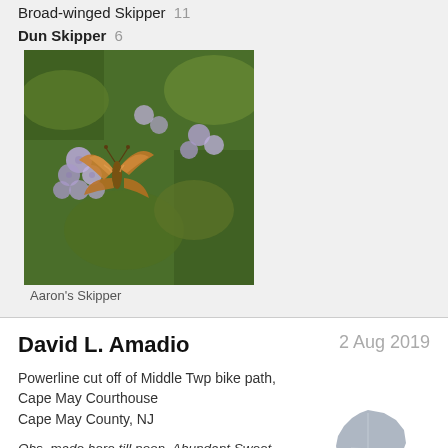Broad-winged Skipper  11
Dun Skipper  6
[Figure (photo): A brown/orange skipper butterfly on purple ageratum flowers, photo of Aaron's Skipper]
Aaron's Skipper
David L. Amadio
2 Aug 2019
Powerline cut off of Middle Twp bike path, Cape May Courthouse
Cape May County, NJ
Obs. made here till noon. Abundant Sweet Peppergrass. Wasn't going to stop here today, but the Pepperbush drew me in like the butterflies. One of the Tigers was a dark form female.
[Figure (map): Outline map of New Jersey with Cape May County highlighted in orange at the southern tip]
Black Swallowtail  1
Eastern Tiger Swallowtail  9
Spicebush Swallowtail  12